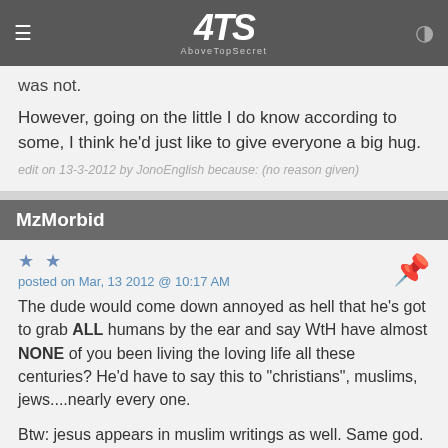ATS AboveTopSecret
was not.
However, going on the little I do know according to some, I think he'd just like to give everyone a big hug.
edit on 13-3-2012 by JonoEnglish because: (no reason given)
MzMorbid
posted on Mar, 13 2012 @ 10:17 AM
The dude would come down annoyed as hell that he's got to grab ALL humans by the ear and say WtH have almost NONE of you been living the loving life all these centuries? He'd have to say this to "christians", muslims, jews....nearly every one.
Btw: jesus appears in muslim writings as well. Same god. Prophets of the same god, albeit this god goes by more than one name. 😊